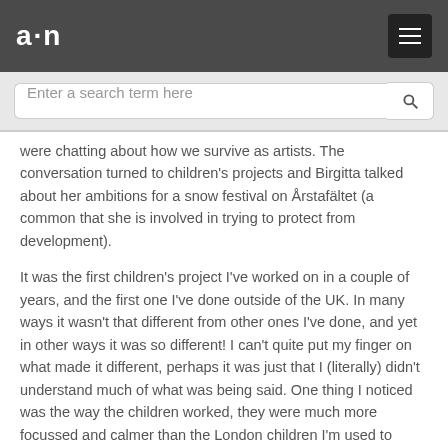a·n
Enter a search term here
were chatting about how we survive as artists. The conversation turned to children's projects and Birgitta talked about her ambitions for a snow festival on Årstafältet (a common that she is involved in trying to protect from development).
It was the first children's project I've worked on in a couple of years, and the first one I've done outside of the UK. In many ways it wasn't that different from other ones I've done, and yet in other ways it was so different! I can't quite put my finger on what made it different, perhaps it was just that I (literally) didn't understand much of what was being said. One thing I noticed was the way the children worked, they were much more focussed and calmer than the London children I'm used to working with. They were also much better at cooperating and sharing the tools. Speaking of tools, I was a little nervous when I saw the tools that we would be working with – it's not that they were particularly dangerous, but they had the potential to